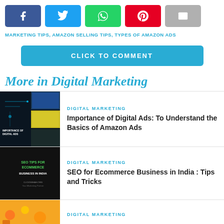[Figure (other): Social share buttons: Facebook (blue), Twitter (light blue), WhatsApp (green), Pinterest (red), Email (gray)]
MARKETING TIPS, AMAZON SELLING TIPS, TYPES OF AMAZON ADS
CLICK TO COMMENT
More in Digital Marketing
[Figure (photo): Thumbnail image for article about digital ads, showing dark background with circuit graphics and collage of device images]
DIGITAL MARKETING
Importance of Digital Ads: To Understand the Basics of Amazon Ads
[Figure (photo): Thumbnail image showing SEO tips for Ecommerce Business in India text on dark background]
DIGITAL MARKETING
SEO for Ecommerce Business in India : Tips and Tricks
[Figure (photo): Thumbnail image with orange background partially visible]
DIGITAL MARKETING